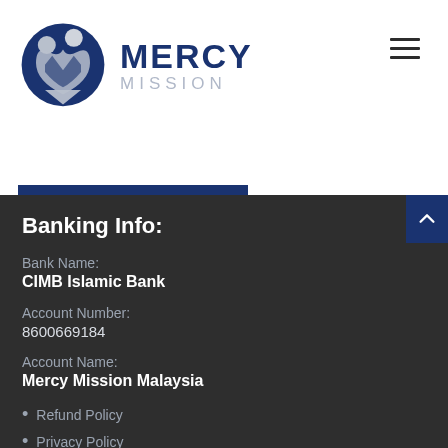[Figure (logo): Mercy Mission logo: circular blue emblem with stylized figures forming an M shape, beside 'MERCY MISSION' text in dark blue]
Banking Info:
Bank Name:
CIMB Islamic Bank
Account Number:
8600669184
Account Name:
Mercy Mission Malaysia
Refund Policy
Privacy Policy